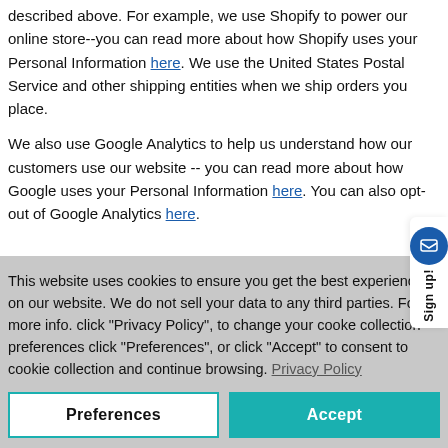described above. For example, we use Shopify to power our online store--you can read more about how Shopify uses your Personal Information here. We use the United States Postal Service and other shipping entities when we ship orders you place.
We also use Google Analytics to help us understand how our customers use our website -- you can read more about how Google uses your Personal Information here. You can also opt-out of Google Analytics here.
This website uses cookies to ensure you get the best experience on our website. We do not sell your data to any third parties. For more info. click "Privacy Policy", to change your cooke collection preferences click "Preferences", or click "Accept" to consent to cookie collection and continue browsing. Privacy Policy